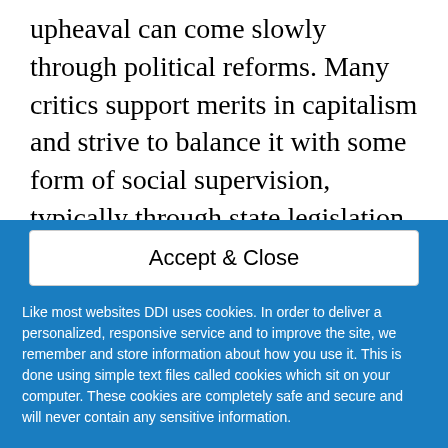upheaval can come slowly through political reforms. Many critics support merits in capitalism and strive to balance it with some form of social supervision, typically through state legislation. Central to the critiques of capitalism are indictments that capitalism is intrinsically exploitative, unsustainable. That creates economic inequality, is anti-democratic,
Accept & Close
Like most websites DDI uses cookies. In order to deliver a personalized, responsive service and to improve the site, we remember and store information about how you use it. This is done using simple text files called cookies which sit on your computer. These cookies are completely safe and secure and will never contain any sensitive information.